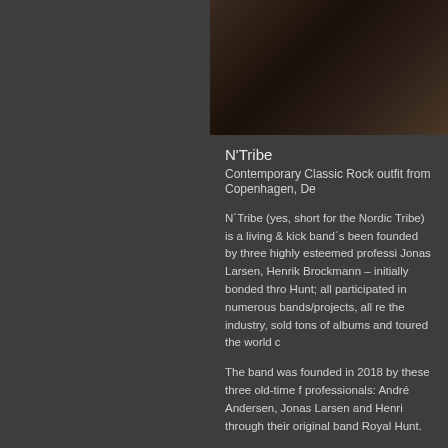[Figure (photo): Dark moody photo of a band or music-related scene, dark brown/black tones]
N'Tribe
Contemporary Classic Rock outfit from Copenhagen, De
N´Tribe (yes, short for the Nordic Tribe) is a living & kick band´s been founded by three highly esteemed professi Jonas Larsen, Henrik Brockmann – initially bonded thro Hunt; all participated in numerous bands/projects, all re the industry, sold tons of albums and toured the world c
The band was founded in 2018 by these three old-time f professionals: André Andersen, Jonas Larsen and Henri through their original band Royal Hunt.
In the spring of 2018 the label asked the guys to get tog original/unreleased songs from RH´s debut album (for th they had so much fun doing it that – all of the sudden –
All of the guys are huge fans of those "70´s Golden Yea